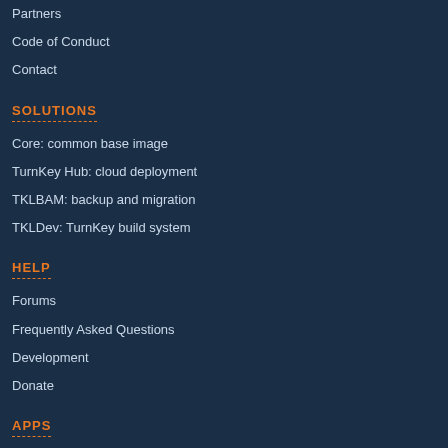Partners
Code of Conduct
Contact
SOLUTIONS
Core: common base image
TurnKey Hub: cloud deployment
TKLBAM: backup and migration
TKLDev: TurnKey build system
HELP
Forums
Frequently Asked Questions
Development
Donate
APPS
Content Management
IT Infrastructure
Web Development